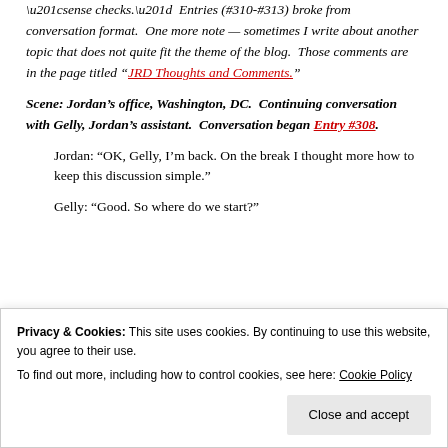“sense checks.”  Entries (#310-#313) broke from conversation format.  One more note — sometimes I write about another topic that does not quite fit the theme of the blog.  Those comments are in the page titled “JRD Thoughts and Comments.”
Scene: Jordan’s office, Washington, DC.  Continuing conversation with Gelly, Jordan’s assistant.  Conversation began Entry #308.
Jordan: “OK, Gelly, I’m back. On the break I thought more how to keep this discussion simple.”
Gelly: “Good. So where do we start?”
Privacy & Cookies: This site uses cookies. By continuing to use this website, you agree to their use.
To find out more, including how to control cookies, see here: Cookie Policy